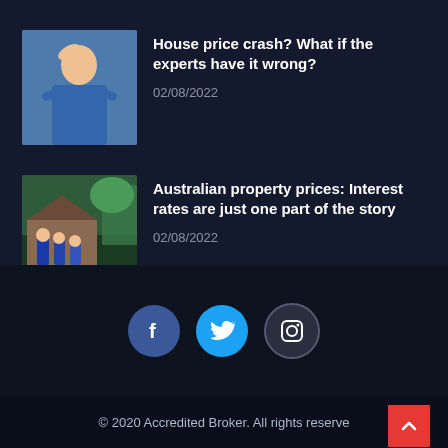[Figure (photo): Young man in blue shirt holding hand to forehead, looking stressed]
House price crash? What if the experts have it wrong?
02/08/2022
[Figure (photo): Group of businessmen standing in front of a house]
Australian property prices: Interest rates are just one part of the story
02/08/2022
[Figure (infographic): Social media icons: Facebook, Twitter, Instagram]
© 2020 Accredited Broker. All rights reserve